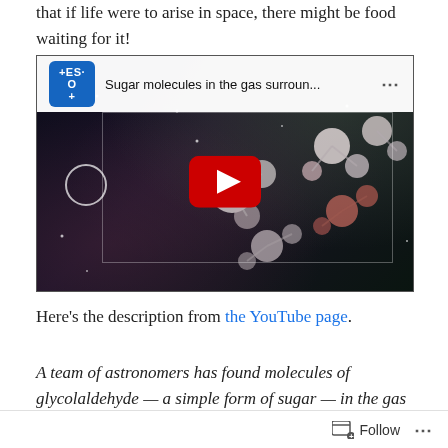that if life were to arise in space, there might be food waiting for it!
[Figure (screenshot): YouTube video thumbnail titled 'Sugar molecules in the gas surroun...' showing 3D molecular structures (glycolaldehyde) floating in a nebula/space background, with a red YouTube play button in the center. The ESO channel logo appears in the top-left corner.]
Here's the description from the YouTube page.
A team of astronomers has found molecules of glycolaldehyde — a simple form of sugar — in the gas